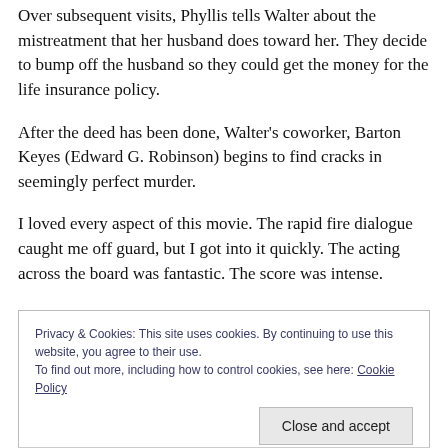Over subsequent visits, Phyllis tells Walter about the mistreatment that her husband does toward her. They decide to bump off the husband so they could get the money for the life insurance policy.
After the deed has been done, Walter's coworker, Barton Keyes (Edward G. Robinson) begins to find cracks in seemingly perfect murder.
I loved every aspect of this movie. The rapid fire dialogue caught me off guard, but I got into it quickly. The acting across the board was fantastic. The score was intense.
Privacy & Cookies: This site uses cookies. By continuing to use this website, you agree to their use.
To find out more, including how to control cookies, see here: Cookie Policy
Close and accept